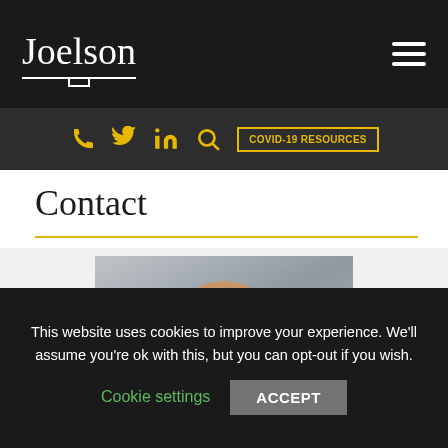Joelson
Contact
[Figure (photo): Professional headshot of a middle-aged man with glasses, wearing a dark suit jacket, smiling slightly, against a blurred background.]
This website uses cookies to improve your experience. We'll assume you're ok with this, but you can opt-out if you wish.
Cookie settings    ACCEPT